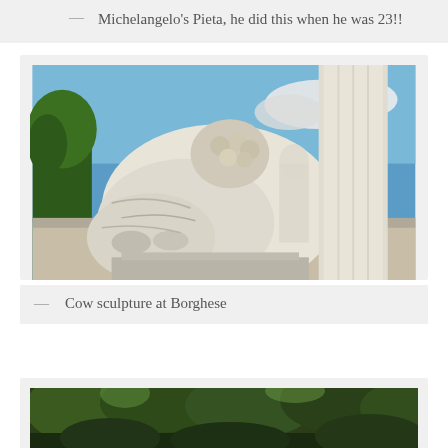— Michelangelo's Pieta, he did this when he was 23!!
[Figure (photo): Close-up photograph of a white marble cow sculpture at Borghese gallery, outdoors with blue sky and trees in background]
— Cow sculpture at Borghese
[Figure (photo): Partially visible photograph of trees and greenery, bottom of page]